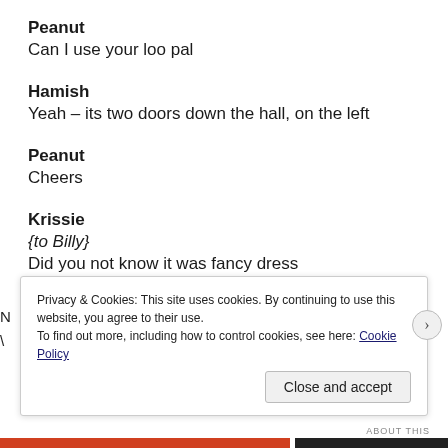Peanut
Can I use your loo pal
Hamish
Yeah – its two doors down the hall, on the left
Peanut
Cheers
Krissie
{to Billy}
Did you not know it was fancy dress
Privacy & Cookies: This site uses cookies. By continuing to use this website, you agree to their use.
To find out more, including how to control cookies, see here: Cookie Policy
Close and accept